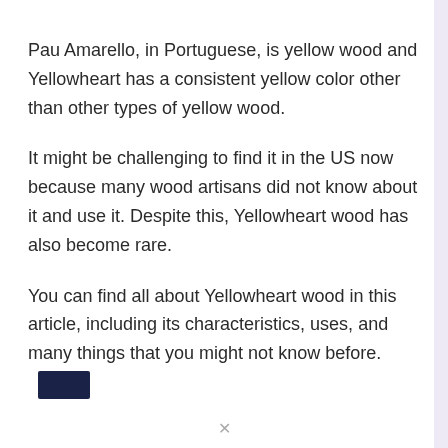Pau Amarello, in Portuguese, is yellow wood and Yellowheart has a consistent yellow color other than other types of yellow wood.
It might be challenging to find it in the US now because many wood artisans did not know about it and use it. Despite this, Yellowheart wood has also become rare.
You can find all about Yellowheart wood in this article, including its characteristics, uses, and many things that you might not know before.